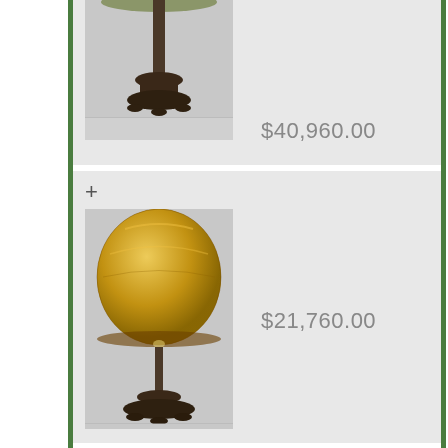[Figure (photo): Auction listing item 1: Tiffany-style lamp with dark bronze base, partial view (cut off at top). Price $40,960.00]
$40,960.00
[Figure (photo): Auction listing item 2: Tiffany-style lamp with yellow floral mosaic shade and dark bronze base.]
$21,760.00
[Figure (photo): Auction listing item 3: Art glass vase with teardrop shape, amber/red/purple swirled pattern with decorative band.]
$15,600.00
[Figure (photo): Auction listing item 4: Tiffany-style lamp shade, partial view (cut off at bottom). Price partially visible.]